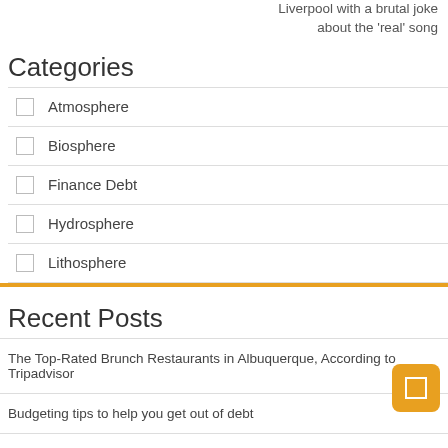Liverpool with a brutal joke about the 'real' song
Categories
Atmosphere
Biosphere
Finance Debt
Hydrosphere
Lithosphere
Recent Posts
The Top-Rated Brunch Restaurants in Albuquerque, According to Tripadvisor
Budgeting tips to help you get out of debt
Resonant signals in the lithosphere-atmosphere-ionosphere coupling
9 Best National Parks on the East Coast